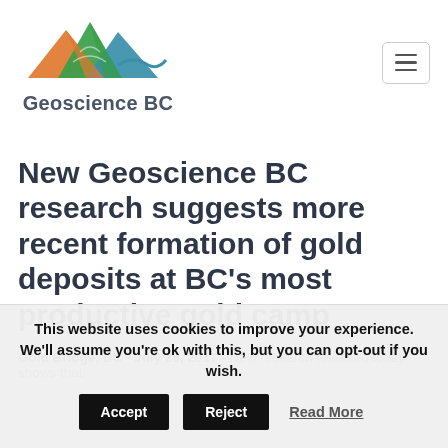[Figure (logo): Geoscience BC logo with mountain silhouette in orange, green, and teal, with text 'Geoscience BC' below]
New Geoscience BC research suggests more recent formation of gold deposits at BC's most productive gold camp
Gold Bridge, BC - July 26, 2017 - New research released today shows that
This website uses cookies to improve your experience. We'll assume you're ok with this, but you can opt-out if you wish.